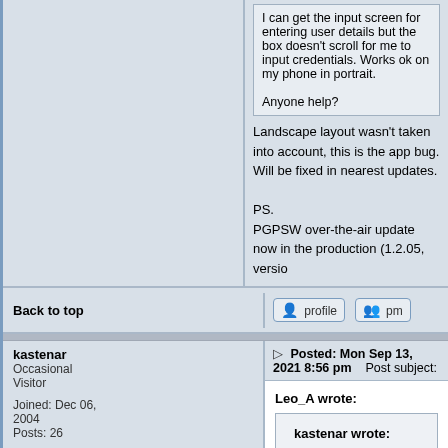I can get the input screen for entering user details but the box doesn't scroll for me to input credentials. Works ok on my phone in portrait.

Anyone help?
Landscape layout wasn't taken into account, this is the app bug. Will be fixed in nearest updates.

PS.
PGPSW over-the-air update now in the production (1.2.05, versio...
Back to top
[Figure (other): Profile button with user icon]
[Figure (other): PM button with users icon]
kastenar
Occasional Visitor

Joined: Dec 06, 2004
Posts: 26
Posted: Mon Sep 13, 2021 8:56 pm    Post subject:
Leo_A wrote:
kastenar wrote:
Hi, loving STA so far. Just enrolled for beta to try the n... I can get the input screen for entering user details bu... it doesn't scroll for me to input credentials. Works ok...

Anyone help?
Landscape layout wasn't taken into account, this is the a...
Will be fixed in nearest updates.